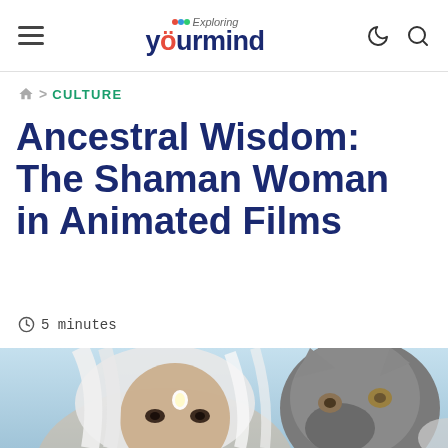Exploring Your Mind — navigation header with hamburger menu, logo, moon icon, and search icon
🏠 > CULTURE
Ancestral Wisdom: The Shaman Woman in Animated Films
⏱ 5 minutes
[Figure (illustration): Digital illustration of a white-haired woman with mystical markings on her forehead looking directly at the viewer, beside a grey wolf. Light blue icy background.]